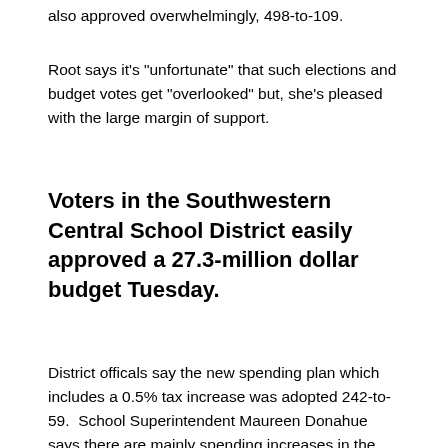also approved overwhelmingly, 498-to-109.
Root says it's "unfortunate" that such elections and budget votes get "overlooked" but, she's pleased with the large margin of support.
Voters in the Southwestern Central School District easily approved a 27.3-million dollar budget Tuesday.
District officals say the new spending plan which includes a 0.5% tax increase was adopted 242-to-59.  School Superintendent Maureen Donahue says there are mainly spending increases in the technology, and instructional areas of the budget.
Donahue says the district is also retaining all teaching and staff positions.  An up to $372,000 transporation proposition to purchase two